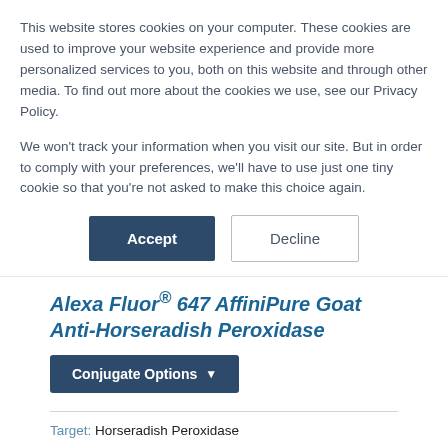This website stores cookies on your computer. These cookies are used to improve your website experience and provide more personalized services to you, both on this website and through other media. To find out more about the cookies we use, see our Privacy Policy.
We won't track your information when you visit our site. But in order to comply with your preferences, we'll have to use just one tiny cookie so that you're not asked to make this choice again.
Accept | Decline
Alexa Fluor® 647 AffiniPure Goat Anti-Horseradish Peroxidase
Conjugate Options
Target: Horseradish Peroxidase
Host: Goat
Antibody Format: Whole IgG
Specificity: Peroxidase
Conjugate: Alexa Fluor® 647